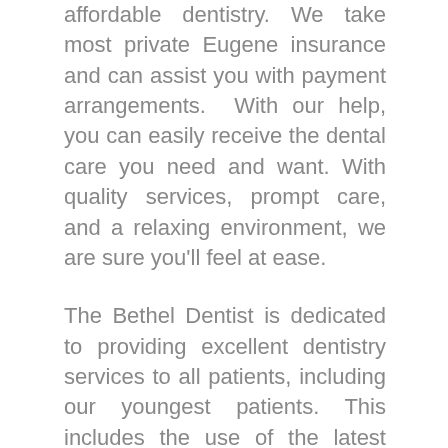affordable dentistry. We take most private Eugene insurance and can assist you with payment arrangements. With our help, you can easily receive the dental care you need and want. With quality services, prompt care, and a relaxing environment, we are sure you'll feel at ease.
The Bethel Dentist is dedicated to providing excellent dentistry services to all patients, including our youngest patients. This includes the use of the latest technologies and treatments for an effective and safe dental experience. We offer tooth colored fillings, crowns, braces, and everything in between. We'll work with you to make the most of your dental insurance benefits for all your...